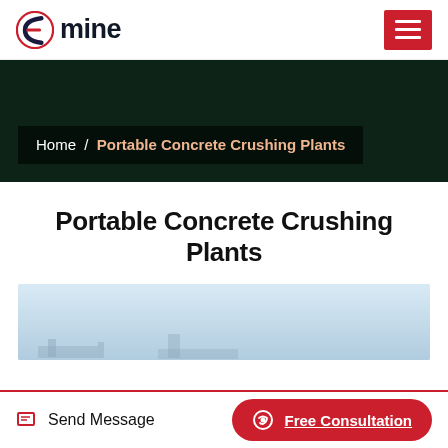[Figure (logo): Fmine logo with stylized F letter mark in navy/red and 'mine' text in dark navy]
Home / Portable Concrete Crushing Plants
Portable Concrete Crushing Plants
[Figure (photo): Outdoor image of portable concrete crushing plant equipment against a light blue sky]
Send Message
Free Consultation